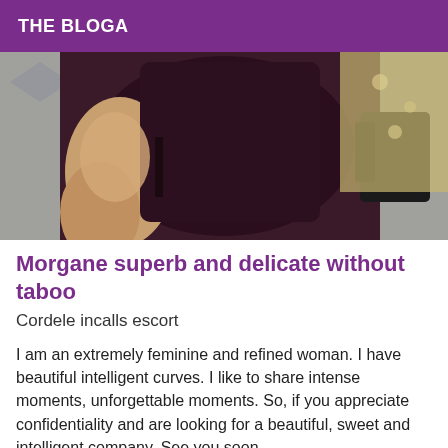THE BLOGA
[Figure (photo): A person in a dark brown/maroon outfit photographed from behind, kneeling on a patterned floor with decorative items visible in the background.]
Morgane superb and delicate without taboo
Cordele incalls escort
I am an extremely feminine and refined woman. I have beautiful intelligent curves. I like to share intense moments, unforgettable moments. So, if you appreciate confidentiality and are looking for a beautiful, sweet and intelligent company. See you soon.